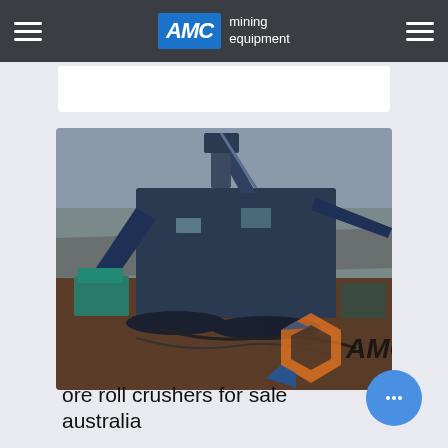AMC mining equipment
[Figure (photo): Large industrial mining crusher machine in an open-pit mine, blue heavy equipment with conveyor belts, AMC logo watermark visible in bottom right corner]
ore roll crushers for sale australia